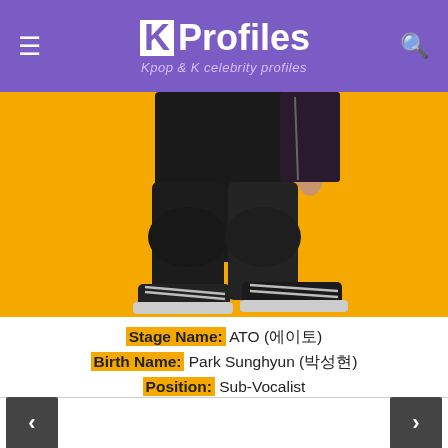KProfiles – Kpop & K celebrity profiles
[Figure (photo): Lower body of a person wearing black outfit with dropped crotch pants and black Converse sneakers, standing against a bright yellow/orange background]
Stage Name: ATO (에이토)
Birth Name: Park Sunghyun (박성현)
Position: Sub-Vocalist
Birthday: June 28, 1993
Zodiac Sign: Cancer
< >